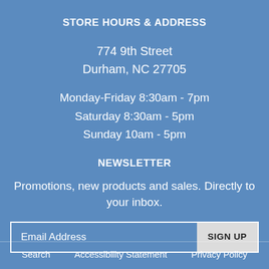STORE HOURS & ADDRESS
774 9th Street
Durham, NC 27705
Monday-Friday 8:30am - 7pm
Saturday 8:30am - 5pm
Sunday 10am - 5pm
NEWSLETTER
Promotions, new products and sales. Directly to your inbox.
Email Address  SIGN UP
Search   Accessibility Statement   Privacy Policy